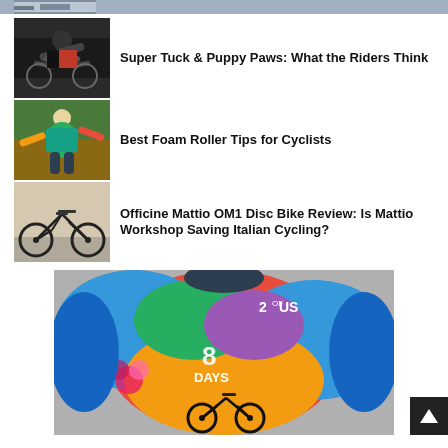[Figure (photo): Partial top cycling photo strip]
[Figure (photo): Cyclist in black kit on road bike]
Super Tuck & Puppy Paws: What the Riders Think
[Figure (photo): Cyclist in colorful kit stretching]
Best Foam Roller Tips for Cyclists
[Figure (photo): Black disc road bike leaning against wall]
Officine Mattio OM1 Disc Bike Review: Is Mattio Workshop Saving Italian Cycling?
[Figure (photo): Back of cyclist wearing colorful jersey with graffiti art showing bicycle and text '8 Days', '2 of US']